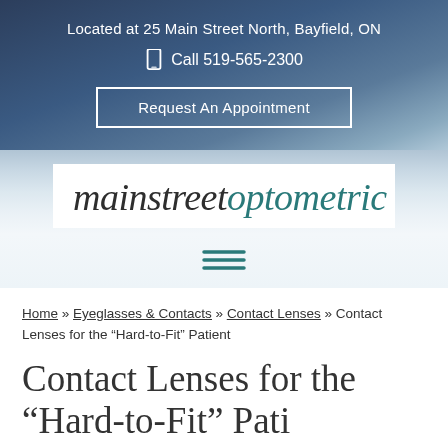Located at 25 Main Street North, Bayfield, ON
Call 519-565-2300
Request An Appointment
[Figure (logo): Mainstreet Optometric logo — white background box with italic serif text: 'mainstreet' in dark grey and 'optometric' in teal]
[Figure (other): Hamburger menu icon — three horizontal teal lines]
Home » Eyeglasses & Contacts » Contact Lenses » Contact Lenses for the “Hard-to-Fit” Patient
Contact Lenses for the “Hard-to-Fit” Patient